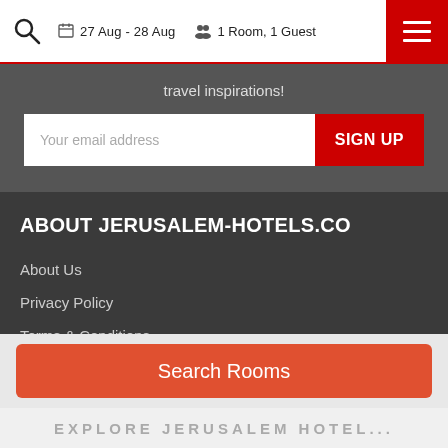27 Aug - 28 Aug  1 Room, 1 Guest
travel inspirations!
Your email address
ABOUT JERUSALEM-HOTELS.CO
About Us
Privacy Policy
Terms & Conditions
Why Book With us
Cancellation Policy
Search Rooms
EXPLORE JERUSALEM HOTELS...